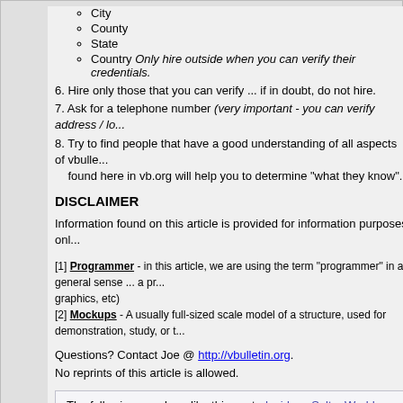City
County
State
Country Only hire outside when you can verify their credentials.
6. Hire only those that you can verify ... if in doubt, do not hire.
7. Ask for a telephone number (very important - you can verify address / lo...
8. Try to find people that have a good understanding of all aspects of vbulle... found here in vb.org will help you to determine "what they know".
DISCLAIMER
Information found on this article is provided for information purposes onl...
[1] Programmer - in this article, we are using the term "programmer" in a general sense ... a pro... graphics, etc)
[2] Mockups - A usually full-sized scale model of a structure, used for demonstration, study, or t...
Questions? Contact Joe @ http://vbulletin.org.
No reprints of this article is allowed.
The following members like this post: desi-boy, SoltanWorld, BCP Hung, Mi...
Last edited by Princeton; 20 Jul 2008 at 17:04..
Views: 3264486
Comments
22 Apr 2006, 23:35